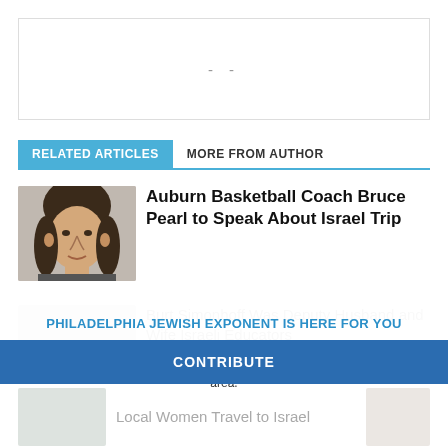[Figure (other): Advertisement placeholder box with dashes]
RELATED ARTICLES
MORE FROM AUTHOR
[Figure (photo): Thumbnail photo of Bruce Pearl, Auburn Basketball Coach]
Auburn Basketball Coach Bruce Pearl to Speak About Israel Trip
PHILADELPHIA JEWISH EXPONENT IS HERE FOR YOU
Your voluntary contribution supports our efforts to deliver content that engages and helps strengthen the Jewish community in the Philadelphia area.
CONTRIBUTE
Local Women Travel to Israel